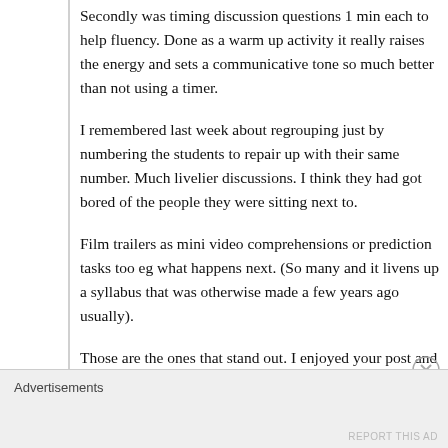Secondly was timing discussion questions 1 min each to help fluency. Done as a warm up activity it really raises the energy and sets a communicative tone so much better than not using a timer.
I remembered last week about regrouping just by numbering the students to repair up with their same number. Much livelier discussions. I think they had got bored of the people they were sitting next to.
Film trailers as mini video comprehensions or prediction tasks too eg what happens next. (So many and it livens up a syllabus that was otherwise made a few years ago usually).
Those are the ones that stand out. I enjoyed your post and look forward to trying out some of the tips and pinching more from the comments I hope 😉
Advertisements